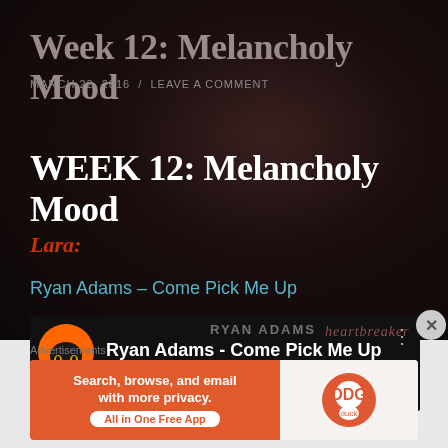Week 12: Melancholy Mood
MARCH 22, 2016 / LEAVE A COMMENT
WEEK 12: Melancholy Mood
Lara:
Ryan Adams – Come Pick Me Up
[Figure (screenshot): YouTube-style video embed showing Ryan Adams - Come Pick Me Up with channel icon and video title]
Advertisements
[Figure (infographic): DuckDuckGo advertisement banner: Search, browse, and email with more privacy. All in One Free App]